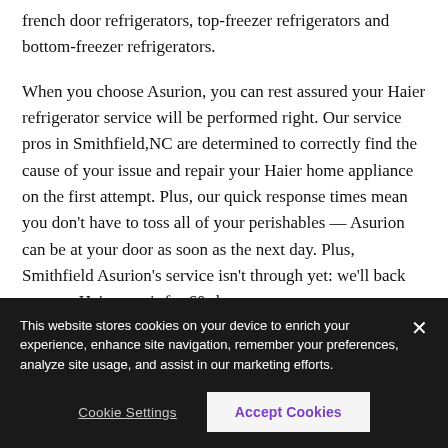french door refrigerators, top-freezer refrigerators and bottom-freezer refrigerators.
When you choose Asurion, you can rest assured your Haier refrigerator service will be performed right. Our service pros in Smithfield,NC are determined to correctly find the cause of your issue and repair your Haier home appliance on the first attempt. Plus, our quick response times mean you don't have to toss all of your perishables — Asurion can be at your door as soon as the next day. Plus, Smithfield Asurion's service isn't through yet: we'll back up your Haier repair for 60-days.
This website stores cookies on your device to enrich your experience, enhance site navigation, remember your preferences, analyze site usage, and assist in our marketing efforts.
Cookie Settings
Accept Cookies